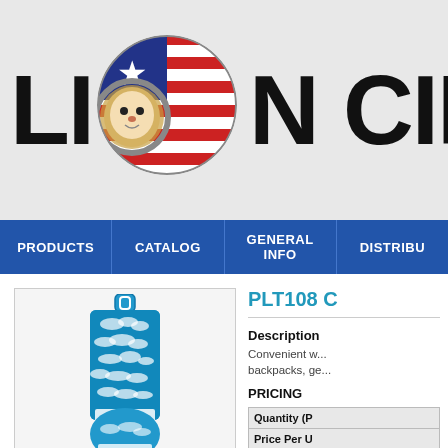[Figure (logo): Lion Circle logo showing a lion face inside a circle with American flag pattern (red, white, blue stars and stripes), next to large bold text reading 'LION CIRCLE']
PRODUCTS | CATALOG | GENERAL INFO | DISTRIBU...
[Figure (photo): Product image of a luggage tag (PLT108) with a blue sky and clouds design, long rectangular shape with a round bottom and loop at the top]
PLT108 C
Description
Convenient w... backpacks, ge...
PRICING
| Quantity (P | Price Per U | Each Additi... Charge |
| --- | --- | --- |